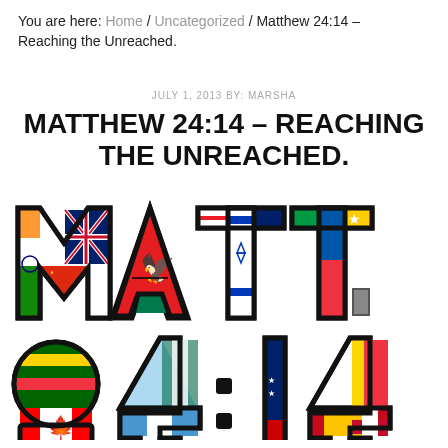You are here: Home / Uncategorized / Matthew 24:14 – Reaching the Unreached.
JULY 1, 2013 BY: MARSHA
MATTHEW 24:14 – REACHING THE UNREACHED.
[Figure (illustration): Colorful illustration of the text 'MATT. 24:14' where each letter and number is filled with different national flags from around the world, rendered in bold black outline style.]